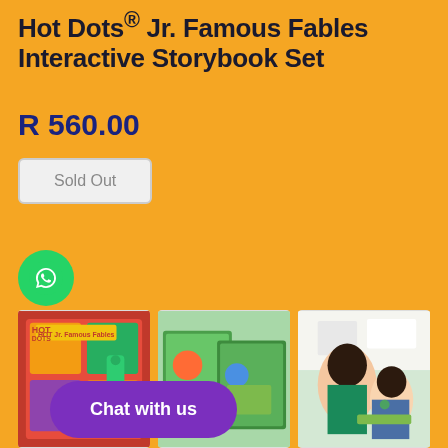Hot Dots® Jr. Famous Fables Interactive Storybook Set
R 560.00
Sold Out
[Figure (logo): WhatsApp green circle icon]
[Figure (photo): Hot Dots Jr. Famous Fables product box with interactive pen]
[Figure (photo): Open storybook pages showing colorful illustrated fable scenes]
[Figure (photo): Mother and child reading with Hot Dots Jr. interactive pen]
Chat with us